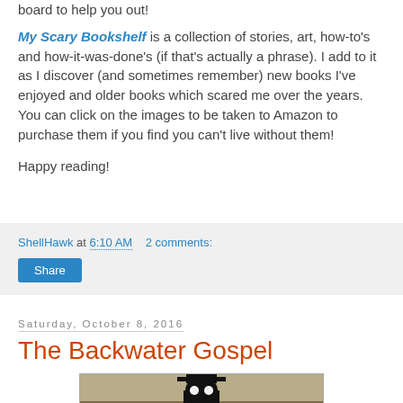board to help you out!
My Scary Bookshelf is a collection of stories, art, how-to's and how-it-was-done's (if that's actually a phrase). I add to it as I discover (and sometimes remember) new books I've enjoyed and older books which scared me over the years. You can click on the images to be taken to Amazon to purchase them if you find you can't live without them!
Happy reading!
ShellHawk at 6:10 AM   2 comments:
Share
Saturday, October 8, 2016
The Backwater Gospel
[Figure (photo): Dark, moody image of a sinister silhouetted figure wearing a top hat with glowing white eyes against a murky background]